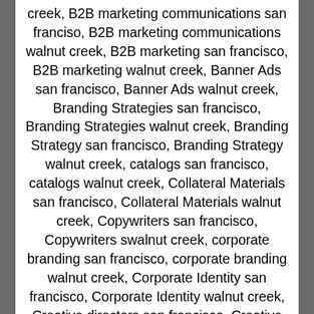creek, B2B marketing communications san franciso, B2B marketing communications walnut creek, B2B marketing san francisco, B2B marketing walnut creek, Banner Ads san francisco, Banner Ads walnut creek, Branding Strategies san francisco, Branding Strategies walnut creek, Branding Strategy san francisco, Branding Strategy walnut creek, catalogs san francisco, catalogs walnut creek, Collateral Materials san francisco, Collateral Materials walnut creek, Copywriters san francisco, Copywriters swalnut creek, corporate branding san francisco, corporate branding walnut creek, Corporate Identity san francisco, Corporate Identity walnut creek, Creative directors san francisco, Creative directors walnut creek, Digital CPM san francisco, Digital CPM walnut creek, Direct Mail Campaigns san francisco, Direct Mail Campaigns walnut creek, Exhibits displays and tradeshows san francisco, Exhibits displays and tradeshows walnut creek, Exhibits displays san francisco, Exhibits displays walnut creek, Graphic designers san francisco, Graphic designers walnut creek,